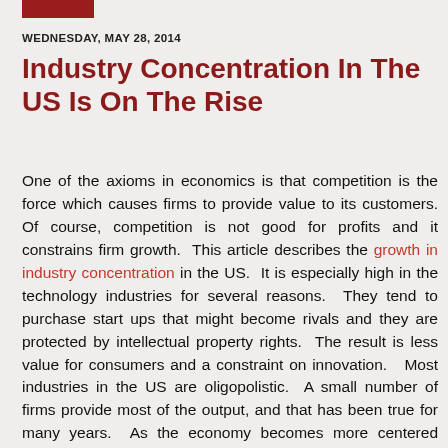WEDNESDAY, MAY 28, 2014
Industry Concentration In The US Is On The Rise
One of the axioms in economics is that competition is the force which causes firms to provide value to its customers. Of course, competition is not good for profits and it constrains firm growth. This article describes the growth in industry concentration in the US. It is especially high in the technology industries for several reasons. They tend to purchase start ups that might become rivals and they are protected by intellectual property rights. The result is less value for consumers and a constraint on innovation. Most industries in the US are oligopolistic. A small number of firms provide most of the output, and that has been true for many years. As the economy becomes more centered around technology, however, the degree of industry concentration has increased. Moreover, other industries, such as healthcare services, are becoming more